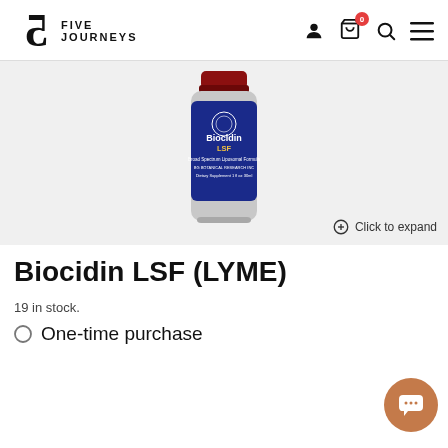Five Journeys
[Figure (photo): A bottle of Biocidin LSF supplement with a blue label, shown on a light gray background. The label reads 'Biocidin LSF, Broad Spectrum Liposomal Formula, BG Botanical Research Inc, Dietary Supplement 1 fl oz 30ml'.]
Click to expand
Biocidin LSF (LYME)
19 in stock.
One-time purchase